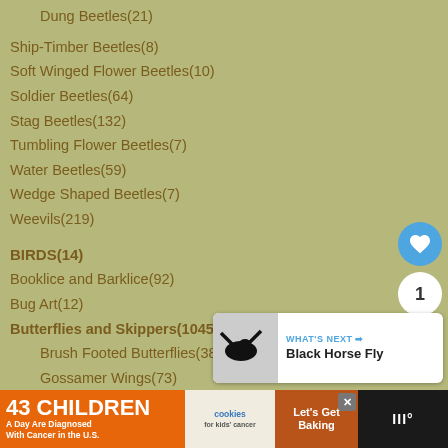Dung Beetles(21)
Ship-Timber Beetles(8)
Soft Winged Flower Beetles(10)
Soldier Beetles(64)
Stag Beetles(132)
Tumbling Flower Beetles(7)
Water Beetles(59)
Wedge Shaped Beetles(7)
Weevils(219)
BIRDS(14)
Booklice and Barklice(92)
Bug Art(12)
Butterflies and Skippers(1045) ▼
Brush Footed Butterflies(388)
Gossamer Wings(73)
Metalmarks(10)
Skippers(75)
swallowtails(182)
Whites and Sulfurs(60)
[Figure (screenshot): What's Next panel showing Black Horse Fly with thumbnail image]
[Figure (screenshot): Advertisement banner: 43 Children A Day Are Diagnosed With Cancer in the U.S. - cookies for kids cancer - Let's Get Baking]